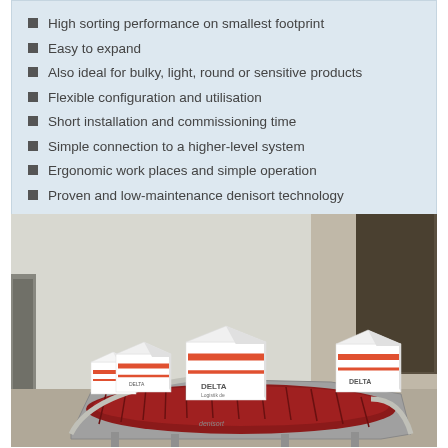High sorting performance on smallest footprint
Easy to expand
Also ideal for bulky, light, round or sensitive products
Flexible configuration and utilisation
Short installation and commissioning time
Simple connection to a higher-level system
Ergonomic work places and simple operation
Proven and low-maintenance denisort technology
Interested? Make an appointment...
[Figure (photo): Photo of a denisort conveyor sorting system with red-and-white Delta branded boxes on a curved roller conveyor in a warehouse/logistics environment.]